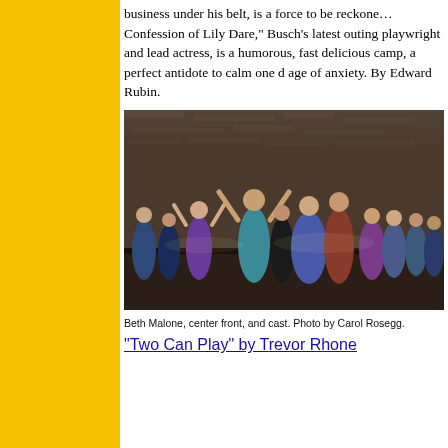business under his belt, is a force to be reckoned with. "Confession of Lily Dare," Busch's latest outing as playwright and lead actress, is a humorous, fast... delicious camp, a perfect antidote to calm one d... age of anxiety. By Edward Rubin.
[Figure (photo): Stage performance photo showing Beth Malone center front and a large cast of performers in colorful period costumes on a theatrical stage with a newspaper-collage backdrop.]
Beth Malone, center front, and cast. Photo by Carol Rosegg.
"Two Can Play" by Trevor Rhone